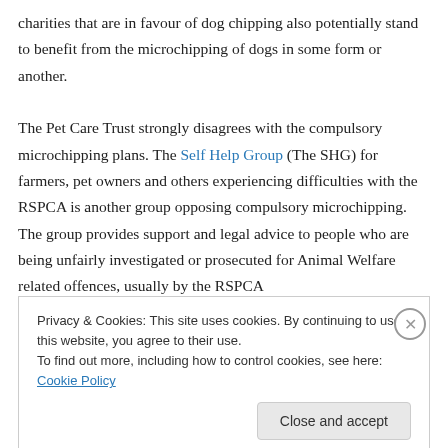charities that are in favour of dog chipping also potentially stand to benefit from the microchipping of dogs in some form or another.
The Pet Care Trust strongly disagrees with the compulsory microchipping plans. The Self Help Group (The SHG) for farmers, pet owners and others experiencing difficulties with the RSPCA is another group opposing compulsory microchipping. The group provides support and legal advice to people who are being unfairly investigated or prosecuted for Animal Welfare related offences, usually by the RSPCA
Privacy & Cookies: This site uses cookies. By continuing to use this website, you agree to their use.
To find out more, including how to control cookies, see here: Cookie Policy